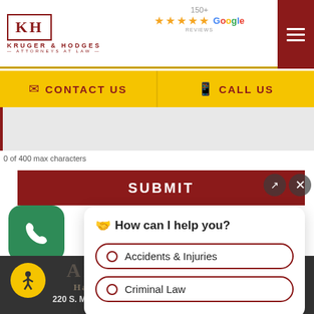[Figure (logo): Kruger & Hodges Attorneys at Law logo with KH monogram in bordered box, dark red color]
[Figure (infographic): 150+ Google Reviews with 5 gold stars and Google branding]
[Figure (infographic): Hamburger menu button (dark red background, 3 white lines)]
✉  CONTACT US
📱  CALL US
0 of 400 max characters
SUBMIT
[Figure (infographic): Green phone call button (rounded square)]
How can I help you?
Accidents & Injuries
Criminal Law
ADDRESS
Hamilton
220 S. Monument Ave., Ste 100 | Hamilton, OH 45011